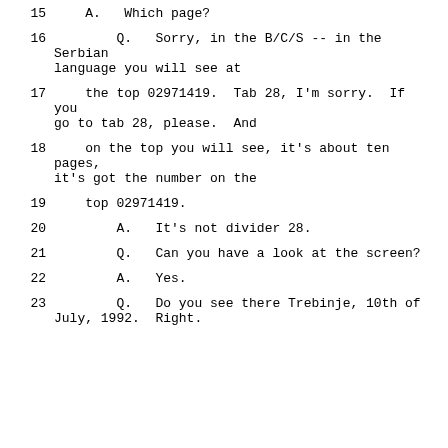15      A.   Which page?
16      Q.   Sorry, in the B/C/S -- in the Serbian language you will see at
17      the top 02971419.  Tab 28, I'm sorry.  If you go to tab 28, please.  And
18      on the top you will see, it's about ten pages, it's got the number on the
19      top 02971419.
20      A.   It's not divider 28.
21      Q.   Can you have a look at the screen?
22      A.   Yes.
23      Q.   Do you see there Trebinje, 10th of July, 1992.  Right.